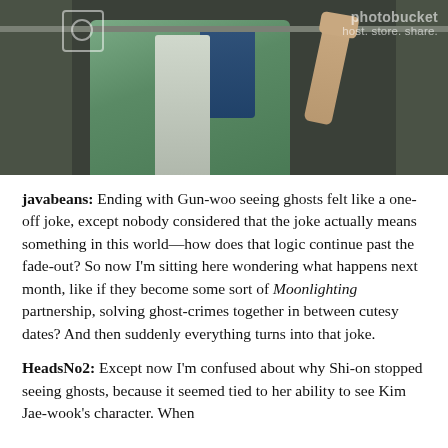[Figure (photo): A person in a light green/teal jacket reaching up toward a metal rail inside what appears to be a subway or train car, with lockers or panels on the sides. A Photobucket watermark is visible in the upper right corner reading 'photobucket host. store. share.']
javabeans: Ending with Gun-woo seeing ghosts felt like a one-off joke, except nobody considered that the joke actually means something in this world—how does that logic continue past the fade-out? So now I'm sitting here wondering what happens next month, like if they become some sort of Moonlighting partnership, solving ghost-crimes together in between cutesy dates? And then suddenly everything turns into that joke.
HeadsNo2: Except now I'm confused about why Shi-on stopped seeing ghosts, because it seemed tied to her ability to see Kim Jae-wook's character. When he died (for REAL) she stopped seeing them, so?